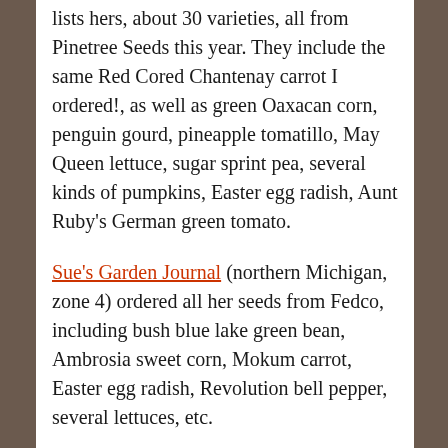lists hers, about 30 varieties, all from Pinetree Seeds this year. They include the same Red Cored Chantenay carrot I ordered!, as well as green Oaxacan corn, penguin gourd, pineapple tomatillo, May Queen lettuce, sugar sprint pea, several kinds of pumpkins, Easter egg radish, Aunt Ruby's German green tomato.
Sue's Garden Journal (northern Michigan, zone 4) ordered all her seeds from Fedco, including bush blue lake green bean, Ambrosia sweet corn, Mokum carrot, Easter egg radish, Revolution bell pepper, several lettuces, etc.
(3/10 update) Kathy at Violet Fern, who lies in zone 4 in upstate NY, has a great schematic of her veggie garden and a list of the many veggies